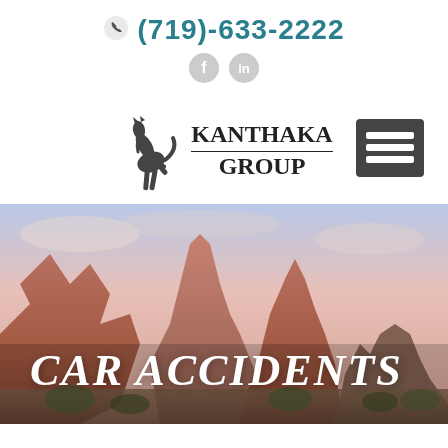(719)-633-2222
[Figure (logo): Kanthaka Group logo with rearing horse silhouette and text KANTHAKA GROUP]
[Figure (photo): Hero image of red rock formations (Garden of the Gods, Colorado Springs) against a pink and blue sky, with the text CAR ACCIDENTS overlaid in large italic white letters]